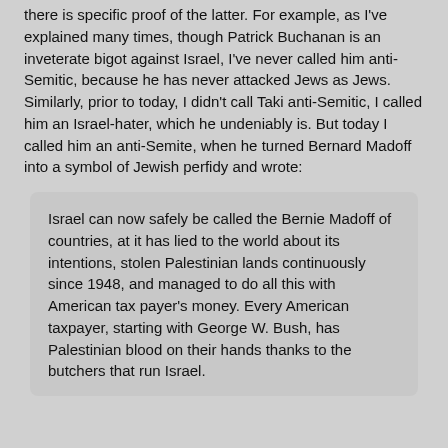there is specific proof of the latter. For example, as I've explained many times, though Patrick Buchanan is an inveterate bigot against Israel, I've never called him anti-Semitic, because he has never attacked Jews as Jews. Similarly, prior to today, I didn't call Taki anti-Semitic, I called him an Israel-hater, which he undeniably is. But today I called him an anti-Semite, when he turned Bernard Madoff into a symbol of Jewish perfidy and wrote:
Israel can now safely be called the Bernie Madoff of countries, at it has lied to the world about its intentions, stolen Palestinian lands continuously since 1948, and managed to do all this with American tax payer's money. Every American taxpayer, starting with George W. Bush, has Palestinian blood on their hands thanks to the butchers that run Israel.